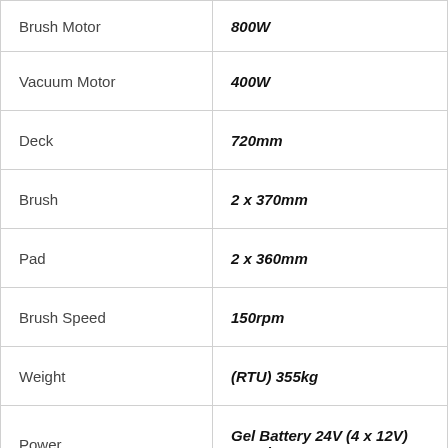| Specification | Value |
| --- | --- |
| Brush Motor | 800W |
| Vacuum Motor | 400W |
| Deck | 720mm |
| Brush | 2 x 370mm |
| Pad | 2 x 360mm |
| Brush Speed | 150rpm |
| Weight | (RTU) 355kg |
| Power | Gel Battery 24V (4 x 12V) 200Ah |
| Runtime | 5 Hrs (Lo Setting) |
| Recharge Time | 8-10 hrs |